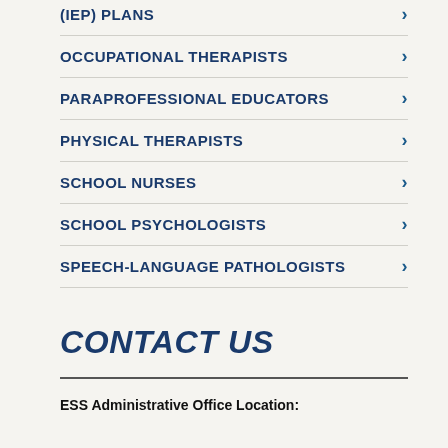(IEP) PLANS
OCCUPATIONAL THERAPISTS
PARAPROFESSIONAL EDUCATORS
PHYSICAL THERAPISTS
SCHOOL NURSES
SCHOOL PSYCHOLOGISTS
SPEECH-LANGUAGE PATHOLOGISTS
CONTACT US
ESS Administrative Office Location: